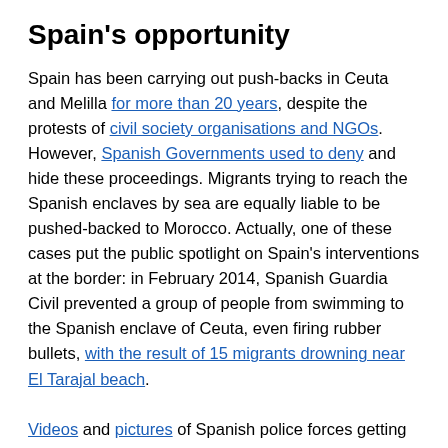Spain's opportunity
Spain has been carrying out push-backs in Ceuta and Melilla for more than 20 years, despite the protests of civil society organisations and NGOs. However, Spanish Governments used to deny and hide these proceedings. Migrants trying to reach the Spanish enclaves by sea are equally liable to be pushed-backed to Morocco. Actually, one of these cases put the public spotlight on Spain's interventions at the border: in February 2014, Spanish Guardia Civil prevented a group of people from swimming to the Spanish enclave of Ceuta, even firing rubber bullets, with the result of 15 migrants drowning near El Tarajal beach.
Videos and pictures of Spanish police forces getting people down from the top of the fence by all means possible, including violent use of force, began to flood